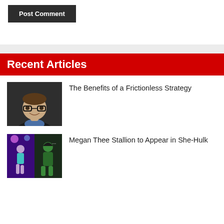Post Comment
Recent Articles
The Benefits of a Frictionless Strategy
[Figure (photo): Headshot of an older man with glasses, smiling, wearing a suit jacket and blue shirt, against a dark background.]
Megan Thee Stallion to Appear in She-Hulk
[Figure (photo): Composite image showing Megan Thee Stallion performing on stage and She-Hulk character.]